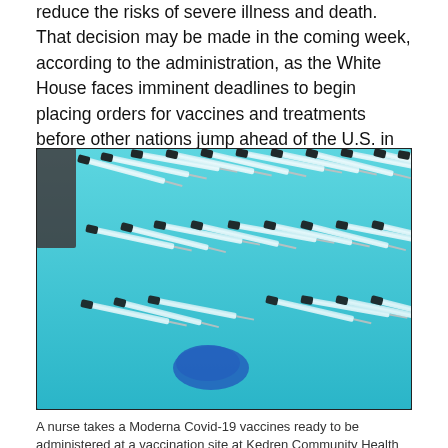reduce the risks of severe illness and death. That decision may be made in the coming week, according to the administration, as the White House faces imminent deadlines to begin placing orders for vaccines and treatments before other nations jump ahead of the U.S. in accessing supply.
[Figure (photo): Aerial view of a tray filled with multiple rows of Moderna Covid-19 syringes laid out on a blue surface, with a gloved hand reaching in from the bottom center.]
A nurse takes a Moderna Covid-19 vaccines ready to be administered at a vaccination site at Kedren Community Health Center, in South Central